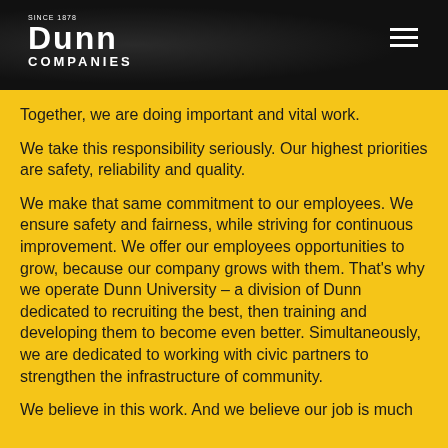[Figure (logo): Dunn Companies logo — white text on dark/black textured background. 'SINCE 1878' above, 'DUNN' in large bold block letters, 'COMPANIES' below in spaced capitals. Hamburger menu icon top right.]
Together, we are doing important and vital work.
We take this responsibility seriously. Our highest priorities are safety, reliability and quality.
We make that same commitment to our employees. We ensure safety and fairness, while striving for continuous improvement. We offer our employees opportunities to grow, because our company grows with them. That’s why we operate Dunn University – a division of Dunn dedicated to recruiting the best, then training and developing them to become even better. Simultaneously, we are dedicated to working with civic partners to strengthen the infrastructure of community.
We believe in this work. And we believe our job is much